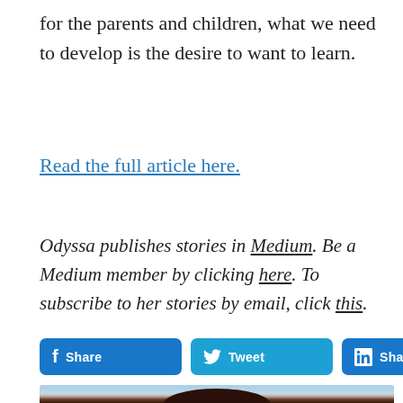for the parents and children, what we need to develop is the desire to want to learn.
Read the full article here.
Odyssa publishes stories in Medium. Be a Medium member by clicking here. To subscribe to her stories by email, click this.
[Figure (other): Social sharing buttons: Facebook Share, Twitter Tweet, LinkedIn Share]
[Figure (photo): Partial photo of a person with dark hair, smiling, against a light blue sky background]